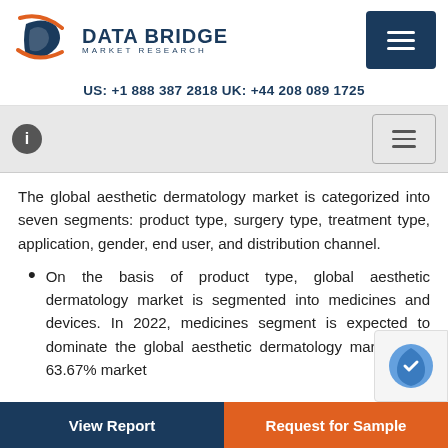DATA BRIDGE MARKET RESEARCH | US: +1 888 387 2818 UK: +44 208 089 1725
The global aesthetic dermatology market is categorized into seven segments: product type, surgery type, treatment type, application, gender, end user, and distribution channel.
On the basis of product type, global aesthetic dermatology market is segmented into medicines and devices. In 2022, medicines segment is expected to dominate the global aesthetic dermatology market with 63.67% market [share...]